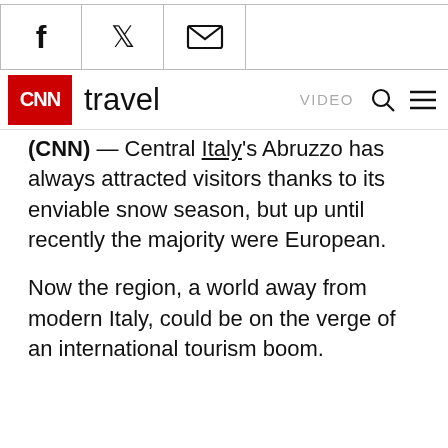[Figure (other): Social sharing icons bar: Facebook, Twitter, Email icons with vertical dividers]
CNN travel  VIDEO  [search] [menu]
(CNN) — Central Italy's Abruzzo has always attracted visitors thanks to its enviable snow season, but up until recently the majority were European.
Now the region, a world away from modern Italy, could be on the verge of an international tourism boom.